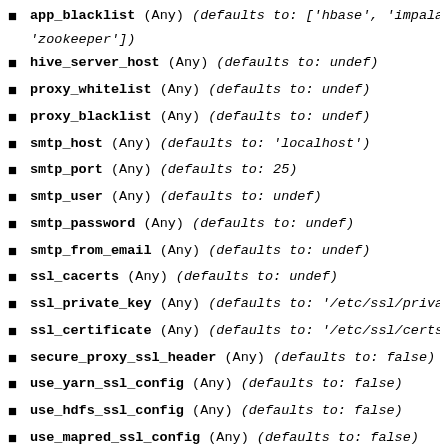app_blacklist (Any) (defaults to: ['hbase', 'impala', 'zookeeper'])
hive_server_host (Any) (defaults to: undef)
proxy_whitelist (Any) (defaults to: undef)
proxy_blacklist (Any) (defaults to: undef)
smtp_host (Any) (defaults to: 'localhost')
smtp_port (Any) (defaults to: 25)
smtp_user (Any) (defaults to: undef)
smtp_password (Any) (defaults to: undef)
smtp_from_email (Any) (defaults to: undef)
ssl_cacerts (Any) (defaults to: undef)
ssl_private_key (Any) (defaults to: '/etc/ssl/privat…')
ssl_certificate (Any) (defaults to: '/etc/ssl/certs/…')
secure_proxy_ssl_header (Any) (defaults to: false)
use_yarn_ssl_config (Any) (defaults to: false)
use_hdfs_ssl_config (Any) (defaults to: false)
use_mapred_ssl_config (Any) (defaults to: false)